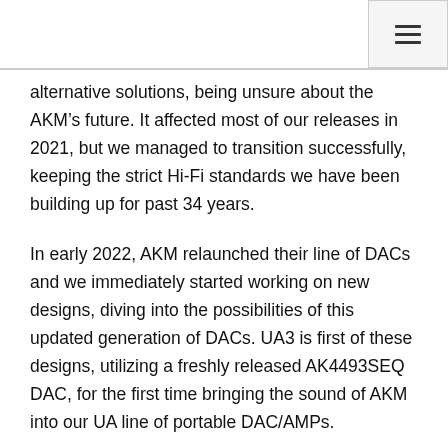menu icon (hamburger)
alternative solutions, being unsure about the AKM’s future. It affected most of our releases in 2021, but we managed to transition successfully, keeping the strict Hi-Fi standards we have been building up for past 34 years.
In early 2022, AKM relaunched their line of DACs and we immediately started working on new designs, diving into the possibilities of this updated generation of DACs. UA3 is first of these designs, utilizing a freshly released AK4493SEQ DAC, for the first time bringing the sound of AKM into our UA line of portable DAC/AMPs.
UA3 builds upon the popular UA2, but takes over some features from the UA5. Balanced output is now using a more robust 4.4mm connector, we added hardware